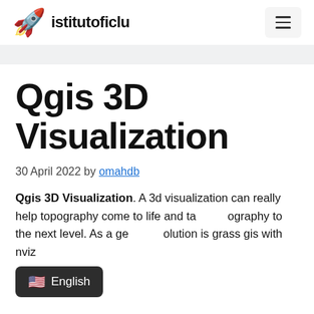istitutoficlu
Qgis 3D Visualization
30 April 2022 by omahdb
Qgis 3D Visualization. A 3d visualization can really help topography come to life and take topography to the next level. As a general solution is grass gis with nviz